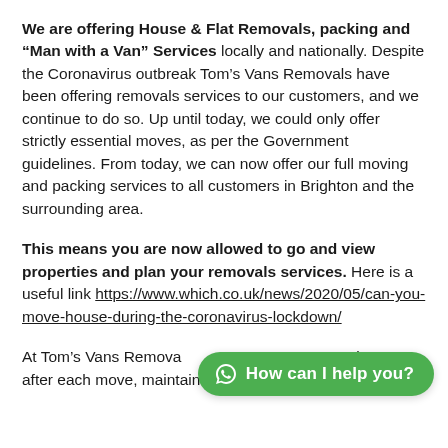We are offering House & Flat Removals, packing and "Man with a Van" Services locally and nationally. Despite the Coronavirus outbreak Tom's Vans Removals have been offering removals services to our customers, and we continue to do so. Up until today, we could only offer strictly essential moves, as per the Government guidelines. From today, we can now offer our full moving and packing services to all customers in Brighton and the surrounding area.
This means you are now allowed to go and view properties and plan your removals services. Here is a useful link https://www.which.co.uk/news/2020/05/can-you-move-house-during-the-coronavirus-lockdown/
At Tom's Vans Remova... removals vans after each move, maintaining strict social
[Figure (other): Green WhatsApp chat button with text 'How can I help you?']